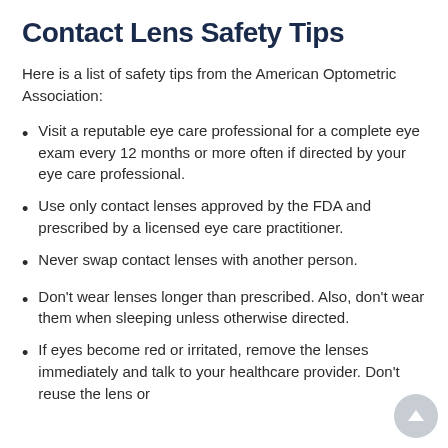Contact Lens Safety Tips
Here is a list of safety tips from the American Optometric Association:
Visit a reputable eye care professional for a complete eye exam every 12 months or more often if directed by your eye care professional.
Use only contact lenses approved by the FDA and prescribed by a licensed eye care practitioner.
Never swap contact lenses with another person.
Don't wear lenses longer than prescribed. Also, don't wear them when sleeping unless otherwise directed.
If eyes become red or irritated, remove the lenses immediately and talk to your healthcare provider. Don't reuse the lens or